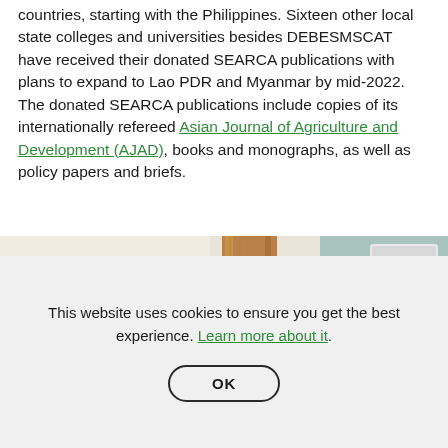countries, starting with the Philippines. Sixteen other local state colleges and universities besides DEBESMSCAT have received their donated SEARCA publications with plans to expand to Lao PDR and Myanmar by mid-2022. The donated SEARCA publications include copies of its internationally refereed Asian Journal of Agriculture and Development (AJAD), books and monographs, as well as policy papers and briefs.
[Figure (photo): A person sitting at a desk or table, partially visible from behind, with wooden shelving or objects in the background and a light-colored wall.]
This website uses cookies to ensure you get the best experience. Learn more about it.
OK